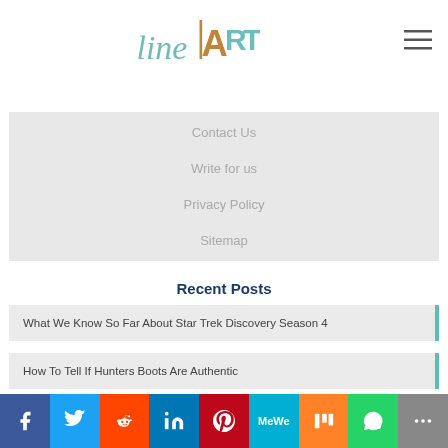lineART logo and hamburger menu
Contact Us
Write for us
Privacy Policy
Sitemap
Recent Posts
What We Know So Far About Star Trek Discovery Season 4
How To Tell If Hunters Boots Are Authentic
[Figure (infographic): Social sharing bar with icons: Facebook, Twitter, Reddit, LinkedIn, Pinterest, MeWe, Mix, WhatsApp, More]